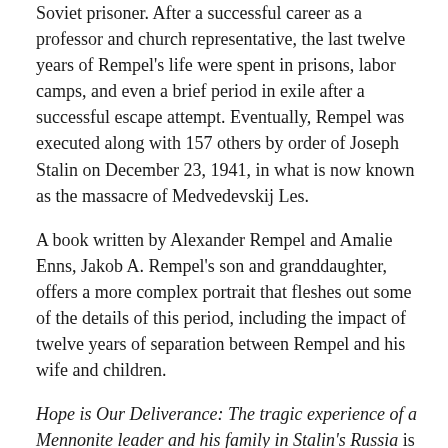Soviet prisoner. After a successful career as a professor and church representative, the last twelve years of Rempel's life were spent in prisons, labor camps, and even a brief period in exile after a successful escape attempt. Eventually, Rempel was executed along with 157 others by order of Joseph Stalin on December 23, 1941, in what is now known as the massacre of Medvedevskij Les.
A book written by Alexander Rempel and Amalie Enns, Jakob A. Rempel's son and granddaughter, offers a more complex portrait that fleshes out some of the details of this period, including the impact of twelve years of separation between Rempel and his wife and children.
Hope is Our Deliverance: The tragic experience of a Mennonite leader and his family in Stalin's Russia is ultimately based on the reminiscences of the life of the